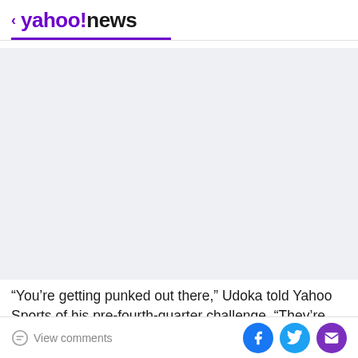< yahoo!news
[Figure (other): Gray advertisement placeholder area]
“You’re getting punked out there,” Udoka told Yahoo Sports of his pre-fourth-quarter challenge. “They’re punking us right now. Is this the way you want to go out?
View comments | Facebook, Twitter, Email share buttons